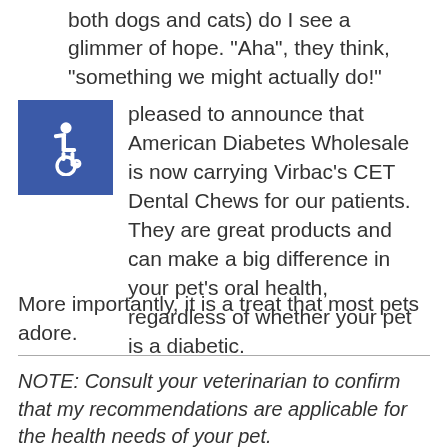both dogs and cats) do I see a glimmer of hope. “Aha”, they think, “something we might actually do!”
[Figure (logo): Blue square with white wheelchair accessibility icon]
pleased to announce that American Diabetes Wholesale is now carrying Virbac’s CET Dental Chews for our patients. They are great products and can make a big difference in your pet’s oral health, regardless of whether your pet is a diabetic.
More importantly, it is a treat that most pets adore.
NOTE: Consult your veterinarian to confirm that my recommendations are applicable for the health needs of your pet.